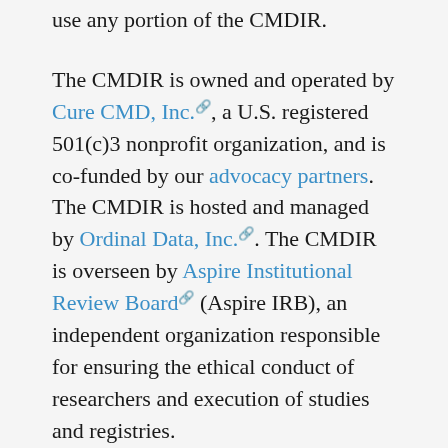use any portion of the CMDIR.
The CMDIR is owned and operated by Cure CMD, Inc., a U.S. registered 501(c)3 nonprofit organization, and is co-funded by our advocacy partners. The CMDIR is hosted and managed by Ordinal Data, Inc.. The CMDIR is overseen by Aspire Institutional Review Board (Aspire IRB), an independent organization responsible for ensuring the ethical conduct of researchers and execution of studies and registries.
The CMDIR has written this Privacy Policy to make users are aware of the information collected, how that information is protected, and how it is used. If users have any questions or comments regarding the Privacy Policy, or feel that the CMDIR is not